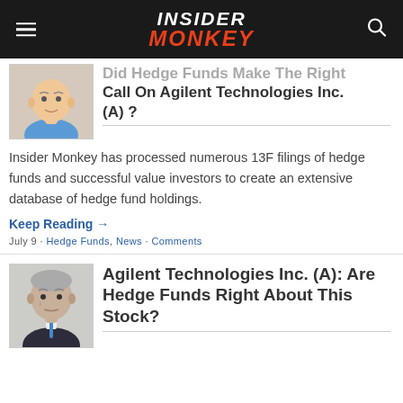INSIDER MONKEY
Did Hedge Funds Make The Right Call On Agilent Technologies Inc. (A) ?
Insider Monkey has processed numerous 13F filings of hedge funds and successful value investors to create an extensive database of hedge fund holdings.
Keep Reading →
July 9 - Hedge Funds, News - Comments
Agilent Technologies Inc. (A): Are Hedge Funds Right About This Stock?